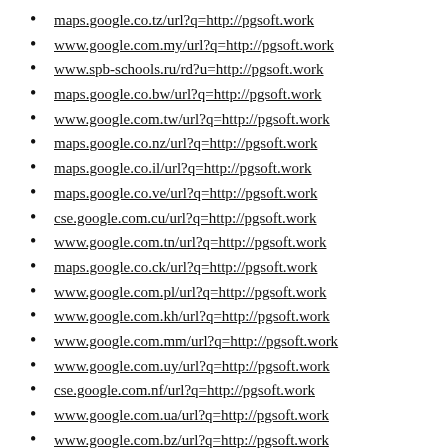maps.google.co.tz/url?q=http://pgsoft.work
www.google.com.my/url?q=http://pgsoft.work
www.spb-schools.ru/rd?u=http://pgsoft.work
maps.google.co.bw/url?q=http://pgsoft.work
www.google.com.tw/url?q=http://pgsoft.work
maps.google.co.nz/url?q=http://pgsoft.work
maps.google.co.il/url?q=http://pgsoft.work
maps.google.co.ve/url?q=http://pgsoft.work
cse.google.com.cu/url?q=http://pgsoft.work
www.google.com.tn/url?q=http://pgsoft.work
maps.google.co.ck/url?q=http://pgsoft.work
www.google.com.pl/url?q=http://pgsoft.work
www.google.com.kh/url?q=http://pgsoft.work
www.google.com.mm/url?q=http://pgsoft.work
www.google.com.uy/url?q=http://pgsoft.work
cse.google.com.nf/url?q=http://pgsoft.work
www.google.com.ua/url?q=http://pgsoft.work
www.google.com.bz/url?q=http://pgsoft.work
www.google.com.pe/url?q=http://pgsoft.work